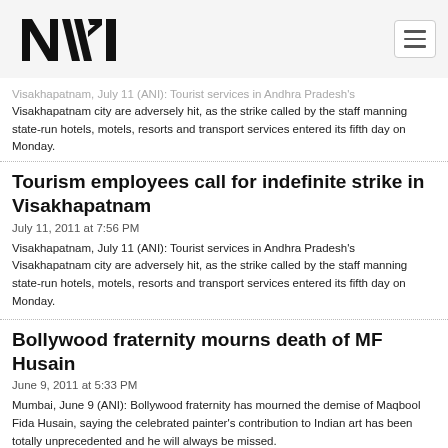NTI logo and navigation
Visakhapatnam, July 11 (ANI): Tourist services in Andhra Pradesh's Visakhapatnam city are adversely hit, as the strike called by the staff manning state-run hotels, motels, resorts and transport services entered its fifth day on Monday.
Tourism employees call for indefinite strike in Visakhapatnam
July 11, 2011 at 7:56 PM
Visakhapatnam, July 11 (ANI): Tourist services in Andhra Pradesh's Visakhapatnam city are adversely hit, as the strike called by the staff manning state-run hotels, motels, resorts and transport services entered its fifth day on Monday.
Bollywood fraternity mourns death of MF Husain
June 9, 2011 at 5:33 PM
Mumbai, June 9 (ANI): Bollywood fraternity has mourned the demise of Maqbool Fida Husain, saying the celebrated painter's contribution to Indian art has been totally unprecedented and he will always be missed.